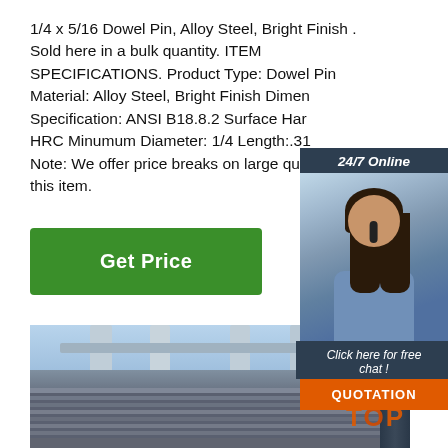1/4 x 5/16 Dowel Pin, Alloy Steel, Bright Finish . Sold here in a bulk quantity. ITEM SPECIFICATIONS. Product Type: Dowel Pin Material: Alloy Steel, Bright Finish Dimensional Specification: ANSI B18.8.2 Surface Har... HRC Minumum Diameter: 1/4 Length:.31... Note: We offer price breaks on large qua... this item.
[Figure (other): Customer service representative with headset, 24/7 Online chat widget with dark blue background, showing 'Click here for free chat!' and QUOTATION button in orange]
[Figure (photo): Industrial steel plates stacked in foreground with bridge infrastructure columns visible in background under a blue sky. 'TOP' text overlay in orange bottom right.]